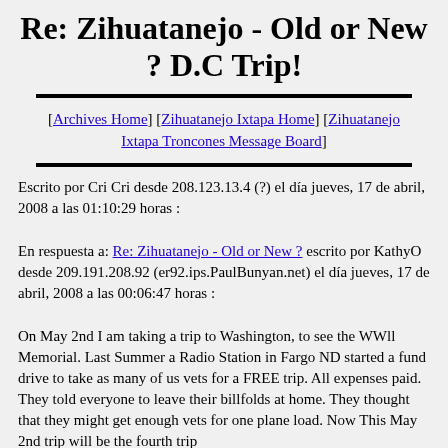Re: Zihuatanejo - Old or New ? D.C Trip!
[Archives Home] [Zihuatanejo Ixtapa Home] [Zihuatanejo Ixtapa Troncones Message Board]
Escrito por Cri Cri desde 208.123.13.4 (?) el día jueves, 17 de abril, 2008 a las 01:10:29 horas :
En respuesta a: Re: Zihuatanejo - Old or New ? escrito por KathyO desde 209.191.208.92 (er92.ips.PaulBunyan.net) el día jueves, 17 de abril, 2008 a las 00:06:47 horas :
On May 2nd I am taking a trip to Washington, to see the WWll Memorial. Last Summer a Radio Station in Fargo ND started a fund drive to take as many of us vets for a FREE trip. All expenses paid. They told everyone to leave their billfolds at home. They thought that they might get enough vets for one plane load. Now This May 2nd trip will be the fourth trip
I was supposed to be on the 3rd flight, but 3 days before the flight